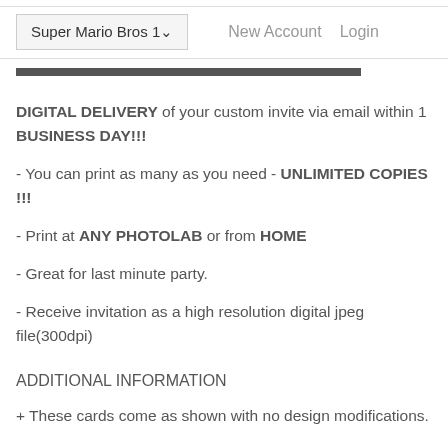Super Mario Bros 1  New Account  Login
DIGITAL DELIVERY of your custom invite via email within 1 BUSINESS DAY!!!
- You can print as many as you need - UNLIMITED COPIES !!!
- Print at ANY PHOTOLAB or from HOME
- Great for last minute party.
- Receive invitation as a high resolution digital jpeg file(300dpi)
ADDITIONAL INFORMATION
+ These cards come as shown with no design modifications.
+ These cards come as shown with no white borders or bleed lines. No exception.